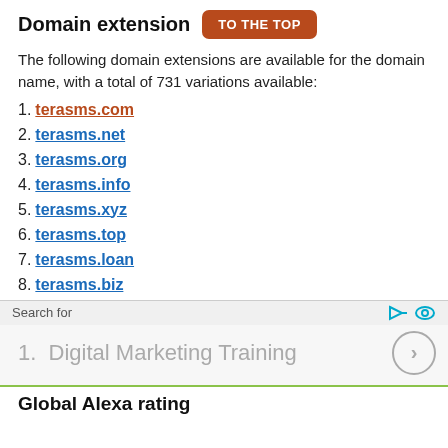Domain extension
The following domain extensions are available for the domain name, with a total of 731 variations available:
1. terasms.com
2. terasms.net
3. terasms.org
4. terasms.info
5. terasms.xyz
6. terasms.top
7. terasms.loan
8. terasms.biz
Search for
1. Digital Marketing Training
Global Alexa rating